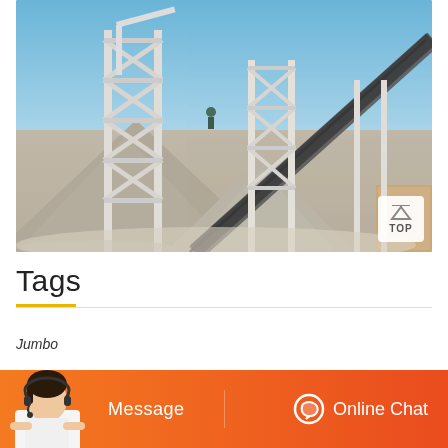[Figure (photo): Industrial conveyor belt system with white metal lattice support towers over gravel/aggregate stockpiles at a quarry or processing facility, under a clear blue sky]
Tags
Jumbo
[Figure (illustration): Customer service representative with headset — chat bar with Message and Online Chat buttons in orange]